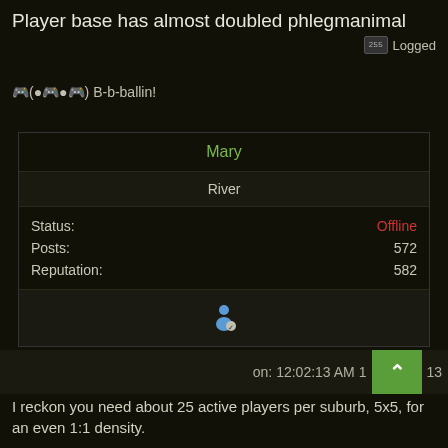Player base has almost doubled phlegmanimal
Logged
🎮(●🎮●🎮) B-b-ballin!
| Mary |  |
| --- | --- |
| River |  |
| Status: | Offline |
| Posts: | 572 |
| Reputation: | 582 |
| [avatar icon] |  |
on: 12:02:13 AM 1...13
I reckon you need about 25 active players per suburb, 5x5, for an even 1:1 density.